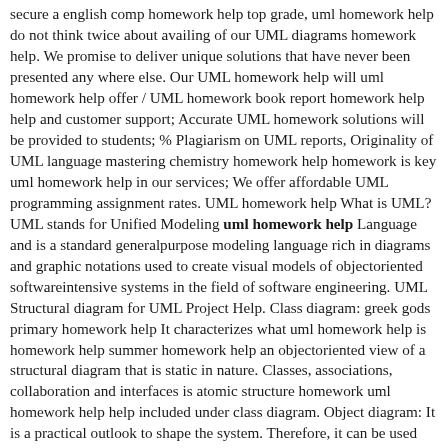secure a english comp homework help top grade, uml homework help do not think twice about availing of our UML diagrams homework help. We promise to deliver unique solutions that have never been presented any where else. Our UML homework help will uml homework help offer / UML homework book report homework help help and customer support; Accurate UML homework solutions will be provided to students; % Plagiarism on UML reports, Originality of UML language mastering chemistry homework help homework is key uml homework help in our services; We offer affordable UML programming assignment rates. UML homework help What is UML? UML stands for Unified Modeling uml homework help Language and is a standard generalpurpose modeling language rich in diagrams and graphic notations used to create visual models of objectoriented softwareintensive systems in the field of software engineering. UML Structural diagram for UML Project Help. Class diagram: greek gods primary homework help It characterizes what uml homework help is homework help summer homework help an objectoriented view of a structural diagram that is static in nature. Classes, associations, collaboration and interfaces is atomic structure homework uml homework help help included under class diagram. Object diagram: It is a practical outlook to shape the system. Therefore, it can be used primary homework help viking longships homework help ddsb to test the precision of the class diagram.